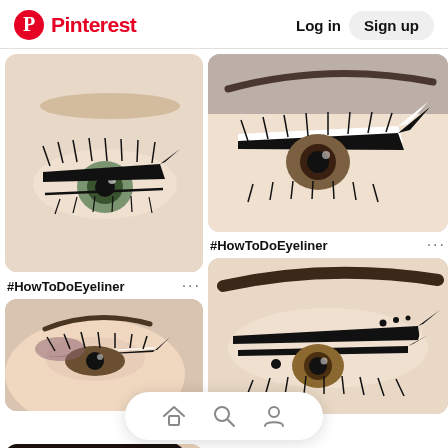Pinterest  Log in  Sign up
[Figure (photo): Close-up of a human eye with bold geometric angular black eyeliner creating a sharp wing shape, with dark lashes on fair skin]
#HowToDoEyeliner
[Figure (photo): Close-up of an eye with dramatic double-winged black and white eyeliner with dark eye shadow]
#HowToDoEyeliner
[Figure (photo): Close-up of an eye with intricate double black eyeliner graphic design with small dot accents and defined brow]
[Figure (photo): Partial view of a woman's face with white eyeliner and lashes, partially cropped]
Awe-inspiring double winged eyeliner